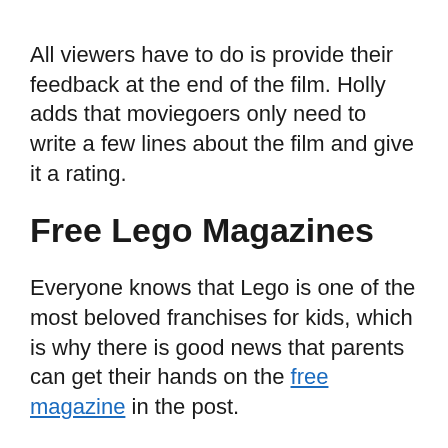All viewers have to do is provide their feedback at the end of the film. Holly adds that moviegoers only need to write a few lines about the film and give it a rating.
Free Lego Magazines
Everyone knows that Lego is one of the most beloved franchises for kids, which is why there is good news that parents can get their hands on the free magazine in the post.
Holly explains: “Lego has a free subscription. It’s for kids between the ages of five and eleven. As a parent all you have to do is register your card on the Lego website and they’ll get a magazine in the mail every quarter, and it costs the same as the ones